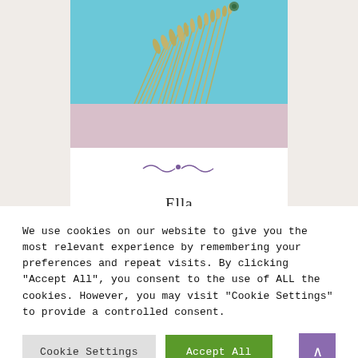[Figure (photo): Product photo of a floral/wheat wreath decoration on a blue background, with a pink/mauve lower section]
Ella
75.00€
We use cookies on our website to give you the most relevant experience by remembering your preferences and repeat visits. By clicking "Accept All", you consent to the use of ALL the cookies. However, you may visit "Cookie Settings" to provide a controlled consent.
Cookie Settings
Accept All